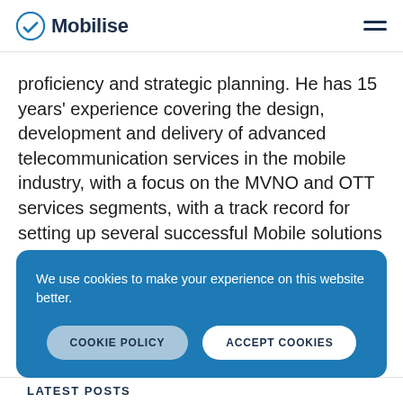Mobilise
proficiency and strategic planning. He has 15 years’ experience covering the design, development and delivery of advanced telecommunication services in the mobile industry, with a focus on the MVNO and OTT services segments, with a track record for setting up several successful Mobile solutions globally.
We use cookies to make your experience on this website better.
COOKIE POLICY   ACCEPT COOKIES
LATEST POSTS